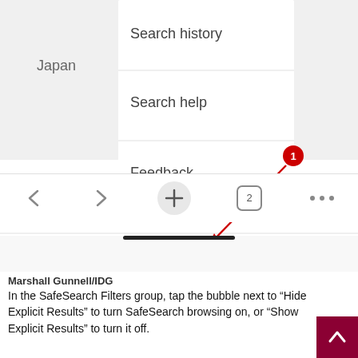[Figure (screenshot): Mobile browser screenshot showing a dropdown menu with 'Search history', 'Search help', 'Feedback' options, a footer row with 'Dark theme: off', 'Settings' (bold), 'Privacy', 'Terms', and second row 'Advertising', 'Business', 'About'. A red arrow points from a red circle labeled '1' at top-right to the 'Settings' link. Below the screenshot is a mobile browser navigation bar with back arrow, forward arrow, plus button (in gray circle), tab count button showing '2', and ellipsis. A black home indicator bar is visible at the bottom of the phone screen.]
Marshall Gunnell/IDG
In the SafeSearch Filters group, tap the bubble next to “Hide Explicit Results” to turn SafeSearch browsing on, or “Show Explicit Results” to turn it off.